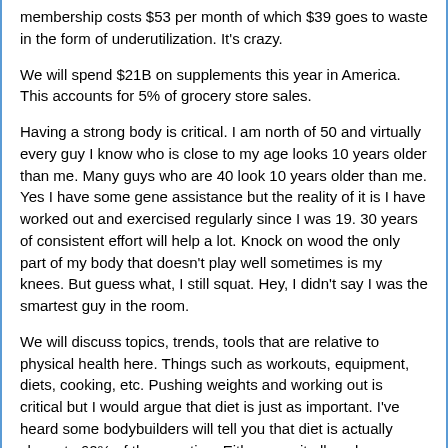membership costs $53 per month of which $39 goes to waste in the form of underutilization.  It's crazy.
We will spend $21B on supplements this year in America.  This accounts for 5% of grocery store sales.
Having a strong body is critical.  I am north of 50 and virtually every guy I know who is close to my age looks 10 years older than me.  Many guys who are 40 look 10 years older than me.  Yes I have some gene assistance but the reality of it is I have worked out and exercised regularly since I was 19.  30 years of consistent effort will help a lot.  Knock on wood the only part of my body that doesn't play well sometimes is my knees.  But guess what, I still squat.  Hey, I didn't say I was the smartest guy in the room.
We will discuss topics, trends, tools that are relative to physical health here.  Things such as workouts, equipment, diets, cooking, etc.  Pushing weights and working out is critical but I would argue that diet is just as important.  I've heard some bodybuilders will tell you that diet is actually closer to 60% of the equation.  Either way, it all works